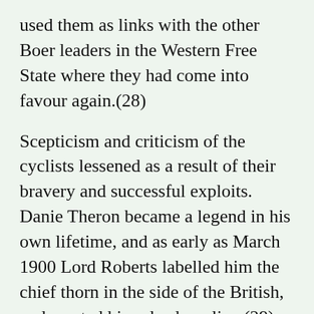used them as links with the other Boer leaders in the Western Free State where they had come into favour again.(28)
Scepticism and criticism of the cyclists lessened as a result of their bravery and successful exploits. Danie Theron became a legend in his own lifetime, and as early as March 1900 Lord Roberts labelled him the chief thorn in the side of the British, and wanted him, dead or alive.(29) The burghers, being conservative, regarded their old and tried methods of warfare as sufficient and thought the formation of a cyclist corps a clever stunt to evade the dangers of war. This however soon changed when the cyclists proved their mettle.(30)